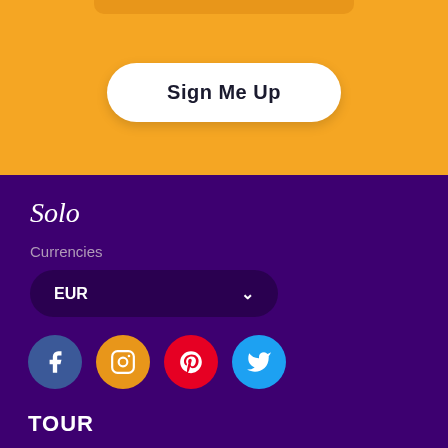Sign Me Up
Solo
Currencies
EUR
[Figure (infographic): Row of four social media icons: Facebook (blue circle with f), Instagram (orange circle with camera), Pinterest (red circle with p), Twitter (light blue circle with bird)]
TOUR
Thailand